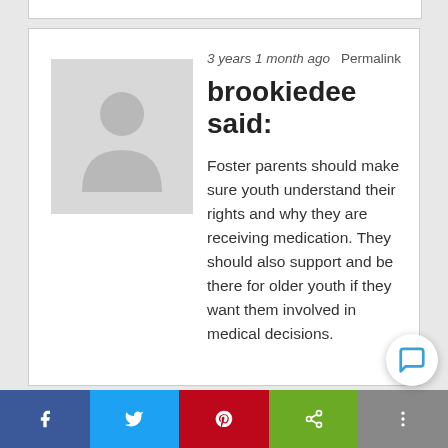3 years 1 month ago   Permalink
brookiedee said:
Foster parents should make sure youth understand their rights and why they are receiving medication. They should also support and be there for older youth if they want them involved in medical decisions.
3 years 1 month ago   Perma...
f   [Twitter bird]   [Pinterest P]   [Share icon]   [More]